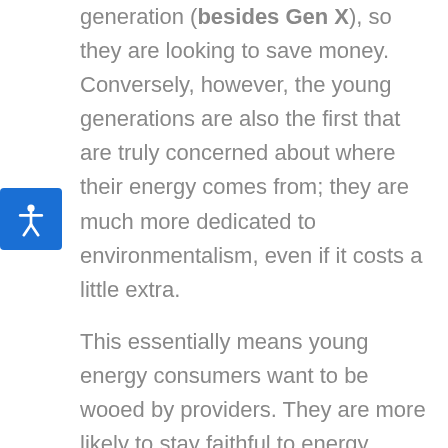generation (besides Gen X), so they are looking to save money. Conversely, however, the young generations are also the first that are truly concerned about where their energy comes from; they are much more dedicated to environmentalism, even if it costs a little extra.

This essentially means young energy consumers want to be wooed by providers. They are more likely to stay faithful to energy providers that offer them a reason to do so, and